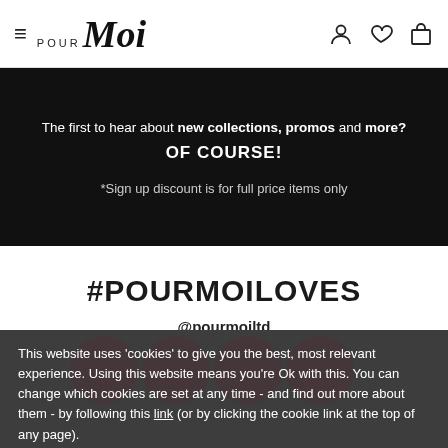Pour Moi — navigation header with hamburger menu, logo, and icons (account, wishlist, bag)
The first to hear about new collections, promos and more? OF COURSE!
*Sign up discount is for full price items only
#POURMOILOVES
@pourmoiltd
This website uses 'cookies' to give you the best, most relevant experience. Using this website means you're Ok with this. You can change which cookies are set at any time - and find out more about them - by following this link (or by clicking the cookie link at the top of any page).
OK, I understand